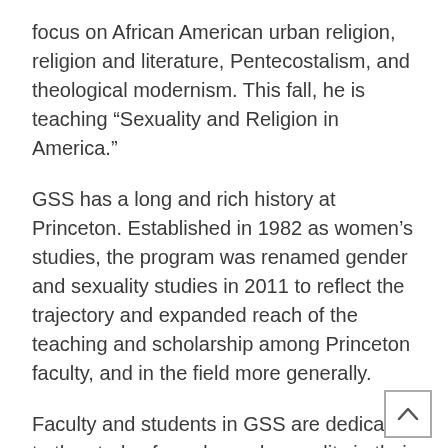focus on African American urban religion, religion and literature, Pentecostalism, and theological modernism. This fall, he is teaching “Sexuality and Religion in America.”
GSS has a long and rich history at Princeton. Established in 1982 as women’s studies, the program was renamed gender and sexuality studies in 2011 to reflect the trajectory and expanded reach of the teaching and scholarship among Princeton faculty, and in the field more generally.
Faculty and students in GSS are dedicated to the study of gender and sexuality in their complex connection to race, ethnicity, class, disability, religion, nationality and other intersections of identity and condition.